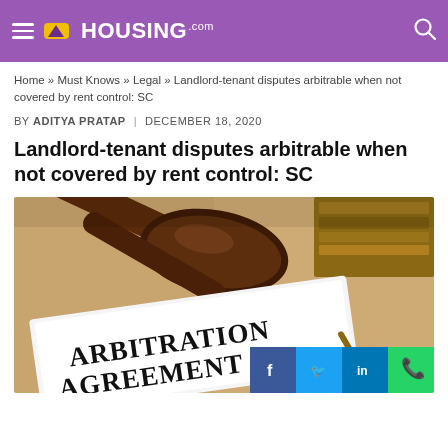HOUSING.com
Home » Must Knows » Legal » Landlord-tenant disputes arbitrable when not covered by rent control: SC
BY ADITYA PRATAP | DECEMBER 18, 2020
Landlord-tenant disputes arbitrable when not covered by rent control: SC
[Figure (photo): Photo of a judge's gavel and a document titled 'ARBITRATION AGREEMENT' on a wooden table, with a pen and books in the background. Social media share icons (Facebook, Twitter, LinkedIn, WhatsApp) overlay the bottom-right corner.]